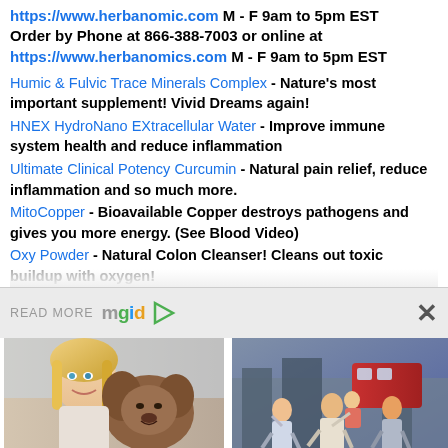https://www.herbanomic.com M - F 9am to 5pm EST Order by Phone at 866-388-7003 or online at https://www.herbanomics.com M - F 9am to 5pm EST
Humic & Fulvic Trace Minerals Complex - Nature's most important supplement! Vivid Dreams again!
HNEX HydroNano EXtracellular Water - Improve immune system health and reduce inflammation
Ultimate Clinical Potency Curcumin - Natural pain relief, reduce inflammation and so much more.
MitoCopper - Bioavailable Copper destroys pathogens and gives you more energy. (See Blood Video)
Oxy Powder - Natural Colon Cleanser! Cleans out toxic buildup with oxygen!
[Figure (screenshot): READ MORE mgid advertisement overlay with close button X]
[Figure (photo): Photo of a blonde woman with a dog - Beautiful Mutations: 15 Staggering Photos Of Heterochromia]
Beautiful Mutations: 15 Staggering Photos Of Heterochromia
[Figure (photo): Photo of people running in a South Korean movie scene - 8 Fantastic South Korean Movies You Should Watch]
8 Fantastic South Korean Movies You Should Watch